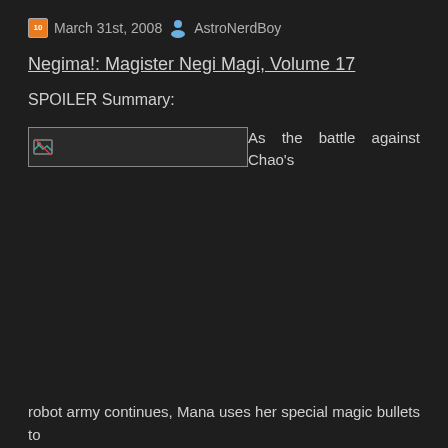March 31st, 2008  AstroNerdBoy
Negima!: Magister Negi Magi, Volume 17
SPOILER Summary:
[Figure (illustration): Broken image placeholder with small icon, followed by inline text: 'As the battle against Chao's']
robot army continues, Mana uses her special magic bullets to